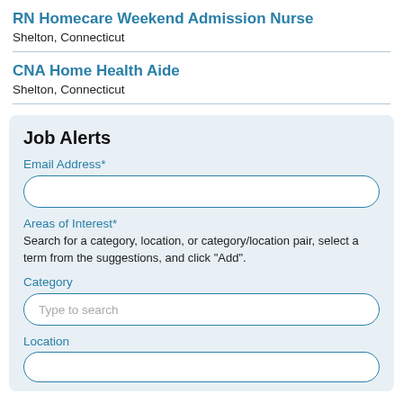RN Homecare Weekend Admission Nurse
Shelton, Connecticut
CNA Home Health Aide
Shelton, Connecticut
Job Alerts
Email Address*
Areas of Interest*
Search for a category, location, or category/location pair, select a term from the suggestions, and click "Add".
Category
Location